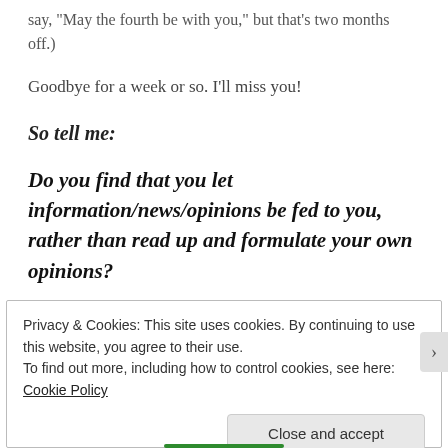say, "May the fourth be with you," but that's two months off.)
Goodbye for a week or so. I'll miss you!
So tell me:
Do you find that you let information/news/opinions be fed to you, rather than read up and formulate your own opinions?
What is your favorite way to eat kale?
Privacy & Cookies: This site uses cookies. By continuing to use this website, you agree to their use.
To find out more, including how to control cookies, see here: Cookie Policy
Close and accept